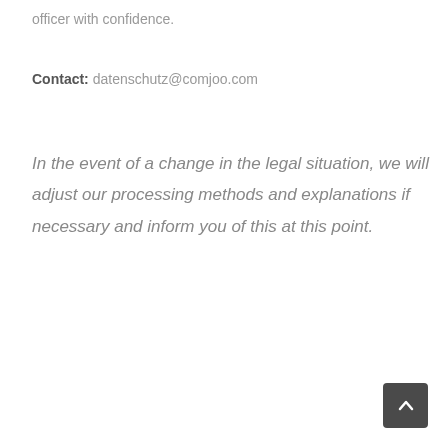officer with confidence.
Contact: datenschutz@comjoo.com
In the event of a change in the legal situation, we will adjust our processing methods and explanations if necessary and inform you of this at this point.